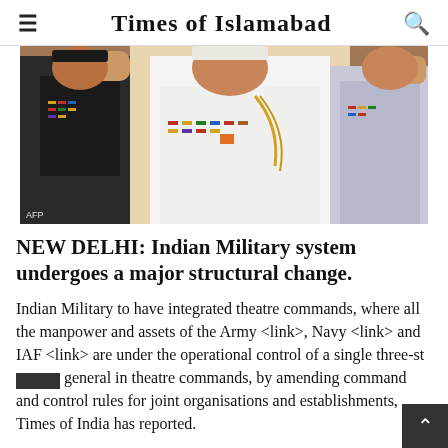Times of Islamabad
[Figure (photo): Military officers in uniform saluting, wearing medals and decorations, at what appears to be a formal ceremony]
NEW DELHI: Indian Military system undergoes a major structural change.
Indian Military to have integrated theatre commands, where all the manpower and assets of the Army <link>, Navy <link> and IAF <link> are under the operational control of a single three-star general in theatre commands, by amending command and control rules for joint organisations and establishments, Times of India has reported.